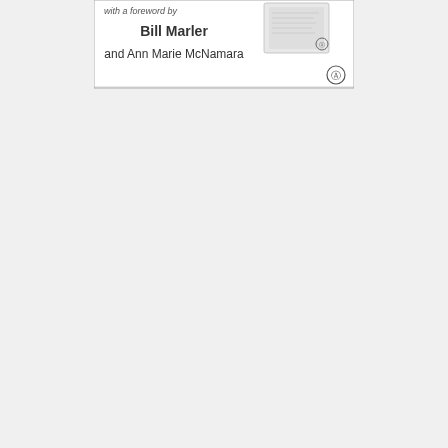[Figure (illustration): Partial view of a book cover showing the bottom portion with text 'with a foreword by Bill Marler and Ann Marie McNamara' along with a small book image and Elsevier logo]